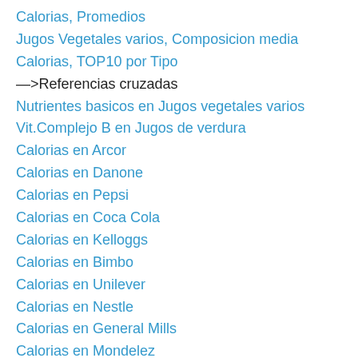Calorias, Promedios
Jugos Vegetales varios, Composicion media
Calorias, TOP10 por Tipo
—>Referencias cruzadas
Nutrientes basicos en Jugos vegetales varios
Vit.Complejo B en Jugos de verdura
Calorias en Arcor
Calorias en Danone
Calorias en Pepsi
Calorias en Coca Cola
Calorias en Kelloggs
Calorias en Bimbo
Calorias en Unilever
Calorias en Nestle
Calorias en General Mills
Calorias en Mondelez